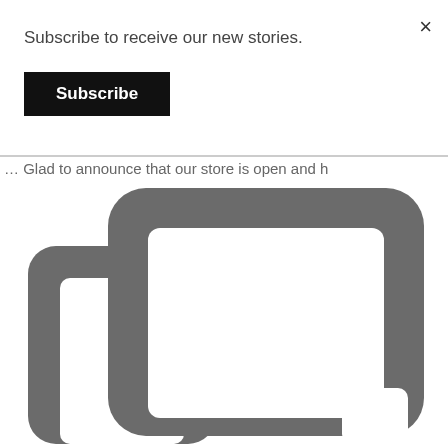×
Subscribe to receive our new stories.
Subscribe
… Glad to announce that our store is open and h
[Figure (illustration): A copy/duplicate icon rendered in dark gray, showing two overlapping rounded rectangles, the larger one on top-right with a white interior square, and a smaller one partially behind it to the lower-left. A small white rounded square appears at the bottom-right corner of the icon.]